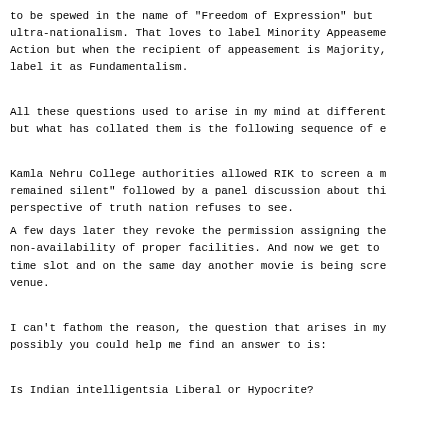to be spewed in the name of "Freedom of Expression" but ultra-nationalism. That loves to label Minority Appeasement Action but when the recipient of appeasement is Majority, label it as Fundamentalism.
All these questions used to arise in my mind at different but what has collated them is the following sequence of e
Kamla Nehru College authorities allowed RIK to screen a m remained silent" followed by a panel discussion about thi perspective of truth nation refuses to see.
A few days later they revoke the permission assigning the non-availability of proper facilities. And now we get to time slot and on the same day another movie is being scre venue.
I can't fathom the reason, the question that arises in my possibly you could help me find an answer to is:
Is Indian intelligentsia Liberal or Hypocrite?